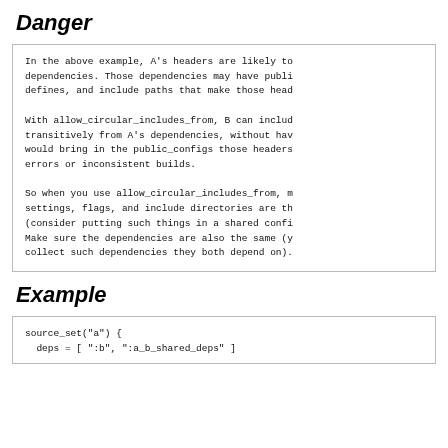Danger
In the above example, A's headers are likely to
dependencies. Those dependencies may have publi
defines, and include paths that make those head

With allow_circular_includes_from, B can includ
transitively from A's dependencies, without hav
would bring in the public_configs those headers
errors or inconsistent builds.

So when you use allow_circular_includes_from, m
settings, flags, and include directories are th
(consider putting such things in a shared confi
Make sure the dependencies are also the same (y
collect such dependencies they both depend on).
Example
source_set("a") {
  deps = [ ":b", ":a_b_shared_deps" ]